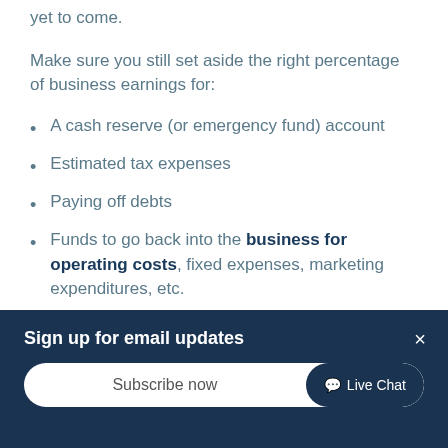yet to come.
Make sure you still set aside the right percentage of business earnings for:
A cash reserve (or emergency fund) account
Estimated tax expenses
Paying off debts
Funds to go back into the business for operating costs, fixed expenses, marketing expenditures, etc.
Sign up for email updates
Subscribe now
Live Chat